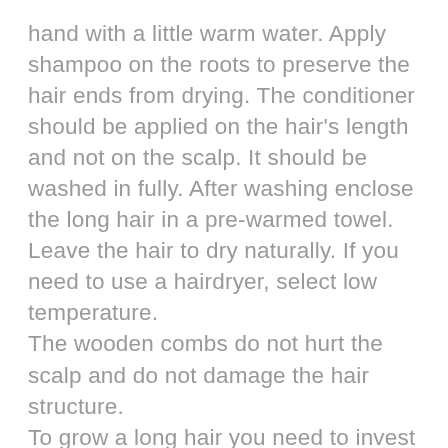hand with a little warm water. Apply shampoo on the roots to preserve the hair ends from drying. The conditioner should be applied on the hair's length and not on the scalp. It should be washed in fully. After washing enclose the long hair in a pre-warmed towel. Leave the hair to dry naturally. If you need to use a hairdryer, select low temperature. The wooden combs do not hurt the scalp and do not damage the hair structure. To grow a long hair you need to invest your time. Better longer care than short haircut. With the use of appropriate hair products, techniques, care and stay of mind you can achieve the dreamed beautiful long hair. Once you have cultivated it, the long hair will provide you a lot of options for long